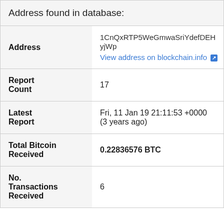| Address found in database: |  |
| Address | 1CnQxRTP5WeGmwaSriYdefDEHyjWp
View address on blockchain.info ↗ |
| Report Count | 17 |
| Latest Report | Fri, 11 Jan 19 21:11:53 +0000
(3 years ago) |
| Total Bitcoin Received | 0.22836576 BTC |
| No. Transactions Received | 6 |